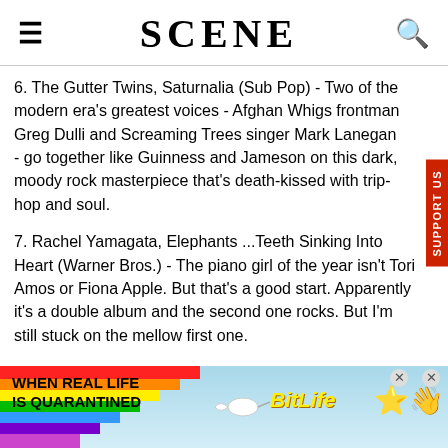SCENE
6. The Gutter Twins, Saturnalia (Sub Pop) - Two of the modern era's greatest voices - Afghan Whigs frontman Greg Dulli and Screaming Trees singer Mark Lanegan - go together like Guinness and Jameson on this dark, moody rock masterpiece that's death-kissed with trip-hop and soul.
7. Rachel Yamagata, Elephants ...Teeth Sinking Into Heart (Warner Bros.) - The piano girl of the year isn't Tori Amos or Fiona Apple. But that's a good start. Apparently it's a double album and the second one rocks. But I'm still stuck on the mellow first one.
[Figure (photo): Advertisement banner for BitLife game - rainbow graphic on left with text 'WHEN REAL LIFE IS QUARANTINED' and BitLife logo with emoji characters on right]